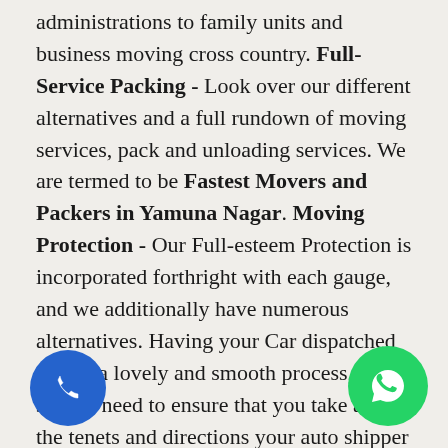administrations to family units and business moving cross country. Full-Service Packing - Look over our different alternatives and a full rundown of moving services, pack and unloading services. We are termed to be Fastest Movers and Packers in Yamuna Nagar. Moving Protection - Our Full-esteem Protection is incorporated forthright with each gauge, and we additionally have numerous alternatives. Having your Car dispatched can be a lovely and smooth process, you simply need to ensure that you take after the tenets and directions your auto shipper has set up. Inability to appropriately set up your auto for delivery can prompt punishments, charges, and included costs that you weren't hoping to pay. Here is a portion of the things to remember when utilizing an auto transporter. Not all Cars cost the same to move - make and model factor ially in deciding the cost. Ensure your Car is wir ound (so you can check whether harm happens amid transport). Inquire as to whether they have the
[Figure (illustration): Blue circular phone call button icon at bottom left]
[Figure (illustration): Green circular WhatsApp icon at bottom right]